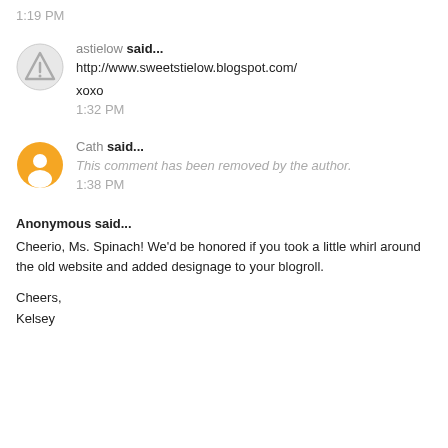1:19 PM
astielow said...
http://www.sweetstielow.blogspot.com/
xoxo
1:32 PM
Cath said...
This comment has been removed by the author.
1:38 PM
Anonymous said...
Cheerio, Ms. Spinach! We'd be honored if you took a little whirl around the old website and added designage to your blogroll.
Cheers,
Kelsey